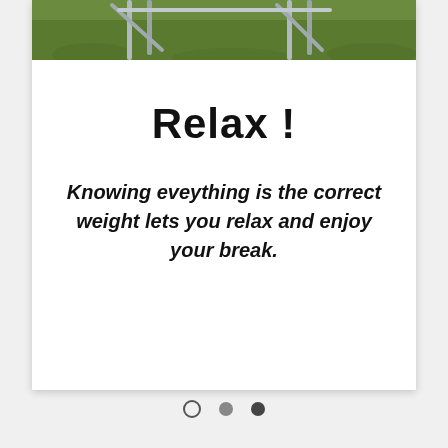[Figure (photo): Outdoor photo showing green grass with metal chair or frame legs visible at top of card]
Relax !
Knowing eveything is the correct weight lets you relax and enjoy your break.